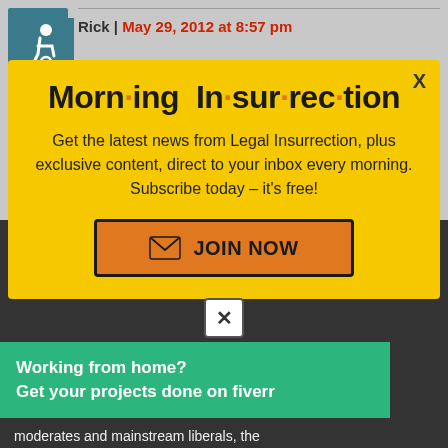Rick | May 29, 2012 at 8:57 pm
He is so brave.
[Figure (screenshot): Morning Insurrection popup modal with yellow background, showing title 'Morn·ing In·sur·rec·tion', subscription text, and JOIN NOW button]
was a new presid... in office.
[Figure (infographic): Fiverr advertisement banner: Working from home? Get your projects done on fiverr]
moderates and mainstream liberals, the